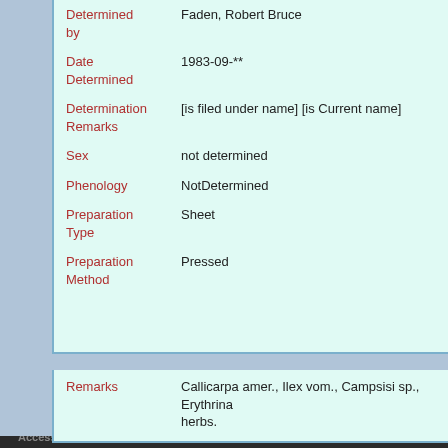| Field | Value |
| --- | --- |
| Determined by | Faden, Robert Bruce |
| Date Determined | 1983-09-** |
| Determination Remarks | [is filed under name] [is Current name] |
| Sex | not determined |
| Phenology | NotDetermined |
| Preparation Type | Sheet |
| Preparation Method | Pressed |
Remarks: Callicarpa amer., Ilex vom., Campsisi sp., Erythrina herbs.
Copyright © 2013 The President and Fellows of Harvard College | Accessibility